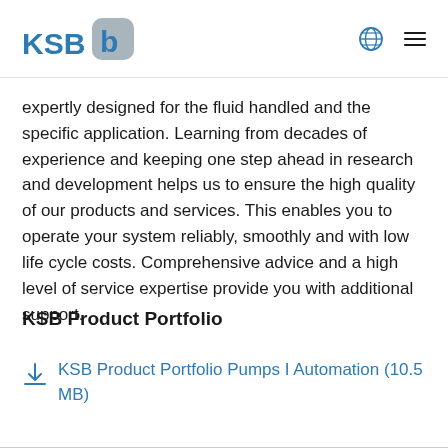KSB logo and navigation icons
expertly designed for the fluid handled and the specific application. Learning from decades of experience and keeping one step ahead in research and development helps us to ensure the high quality of our products and services. This enables you to operate your system reliably, smoothly and with low life cycle costs. Comprehensive advice and a high level of service expertise provide you with additional support.
KSB Product Portfolio
KSB Product Portfolio Pumps I Automation (10.5 MB)